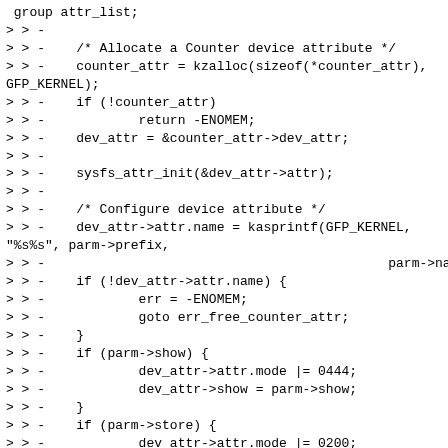group attr_list;
> > -
> > -    /* Allocate a Counter device attribute */
> > -    counter_attr = kzalloc(sizeof(*counter_attr),
GFP_KERNEL);
> > -    if (!counter_attr)
> > -            return -ENOMEM;
> > -    dev_attr = &counter_attr->dev_attr;
> > -
> > -    sysfs_attr_init(&dev_attr->attr);
> > -
> > -    /* Configure device attribute */
> > -    dev_attr->attr.name = kasprintf(GFP_KERNEL,
"%s%s", parm->prefix,
> > -                                            parm->name);
> > -    if (!dev_attr->attr.name) {
> > -            err = -ENOMEM;
> > -            goto err_free_counter_attr;
> > -    }
> > -    if (parm->show) {
> > -            dev_attr->attr.mode |= 0444;
> > -            dev_attr->show = parm->show;
> > -    }
> > -    if (parm->store) {
> > -            dev_attr->attr.mode |= 0200;
> > -            dev_attr->store = parm->store;
> > -    }
> > -
> > -    /* Store associated Counter component with
attribute */
> > -    counter_attr->component = parm->component;